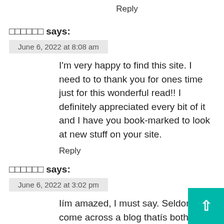Reply
□□□□□□ says:
June 6, 2022 at 8:08 am
I'm very happy to find this site. I need to to thank you for ones time just for this wonderful read!! I definitely appreciated every bit of it and I have you book-marked to look at new stuff on your site.
Reply
□□□□□□ says:
June 6, 2022 at 3:02 pm
Iím amazed, I must say. Seldom do I come across a blog thatís both equally educa and entertaining, and let me tell you, y hit the nail on the head. The issue is